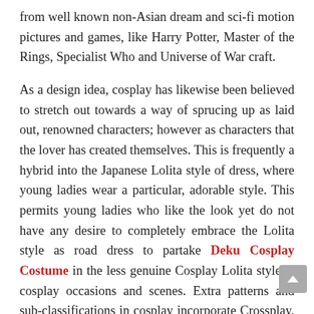from well known non-Asian dream and sci-fi motion pictures and games, like Harry Potter, Master of the Rings, Specialist Who and Universe of War craft.
As a design idea, cosplay has likewise been believed to stretch out towards a way of sprucing up as laid out, renowned characters; however as characters that the lover has created themselves. This is frequently a hybrid into the Japanese Lolita style of dress, where young ladies wear a particular, adorable style. This permits young ladies who like the look yet do not have any desire to completely embrace the Lolita style as road dress to partake Deku Cosplay Costume in the less genuine Cosplay Lolita style at cosplay occasions and scenes. Extra patterns and sub-classifications in cosplay incorporate Crossplay, which includes wearing the ensemble of a person of the other gender, and members called dollars, who wear full body suits and covers to play characters without their own appearances on show, rather like games mascots.